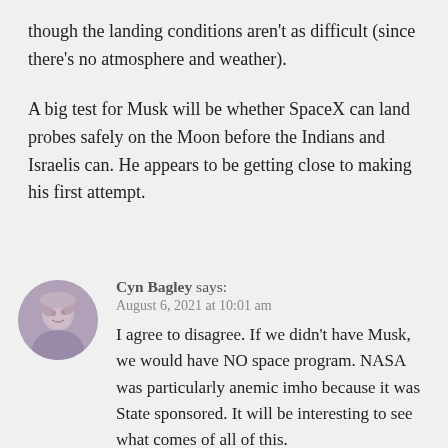though the landing conditions aren't as difficult (since there's no atmosphere and weather).
A big test for Musk will be whether SpaceX can land probes safely on the Moon before the Indians and Israelis can. He appears to be getting close to making his first attempt.
Cyn Bagley says:
August 6, 2021 at 10:01 am
I agree to disagree. If we didn't have Musk, we would have NO space program. NASA was particularly anemic imho because it was State sponsored. It will be interesting to see what comes of all of this.